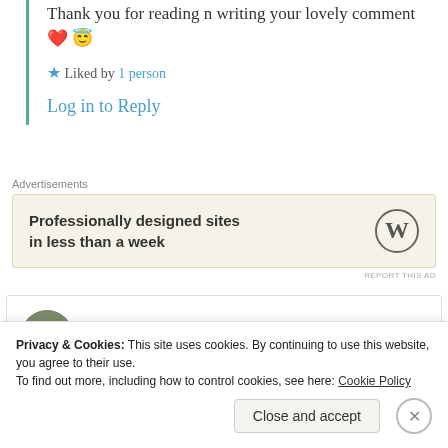Thank you for reading n writing your lovely comment ❤️ 😇
★ Liked by 1 person
Log in to Reply
Advertisements
[Figure (other): WordPress advertisement: 'Professionally designed sites in less than a week' with WordPress logo]
REPORT THIS AD
Aanchal Singh
Privacy & Cookies: This site uses cookies. By continuing to use this website, you agree to their use. To find out more, including how to control cookies, see here: Cookie Policy
Close and accept